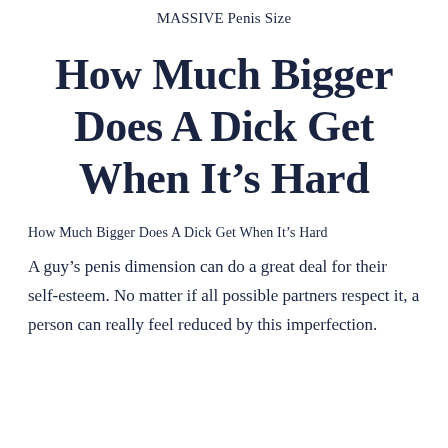MASSIVE Penis Size
How Much Bigger Does A Dick Get When It’s Hard
How Much Bigger Does A Dick Get When It’s Hard
A guy’s penis dimension can do a great deal for their self-esteem. No matter if all possible partners respect it, a person can really feel reduced by this imperfection.